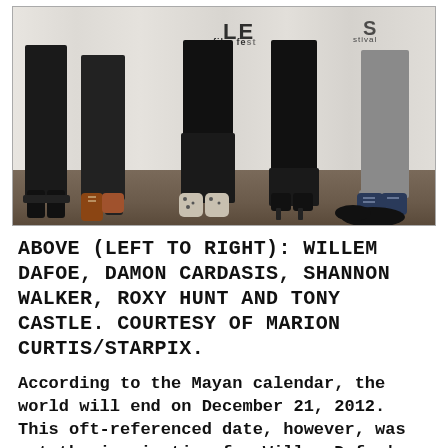[Figure (photo): Photo of five people standing in a row at a film festival event, showing mostly their legs and feet. A film festival banner with 'LE film fest' text is visible in the background. Various shoes are visible: black dress shoes, brown boots, patterned sneakers, black heels, and blue sneakers.]
ABOVE (LEFT TO RIGHT): WILLEM DAFOE, DAMON CARDASIS, SHANNON WALKER, ROXY HUNT AND TONY CASTLE. COURTESY OF MARION CURTIS/STARPIX.
According to the Mayan calendar, the world will end on December 21, 2012. This oft-referenced date, however, was not the inspiration for Willem Dafoe's